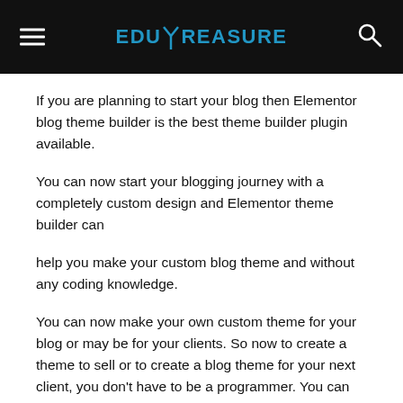EDUTREASURE
If you are planning to start your blog then Elementor blog theme builder is the best theme builder plugin available.
You can now start your blogging journey with a completely custom design and Elementor theme builder can
help you make your custom blog theme and without any coding knowledge.
You can now make your own custom theme for your blog or may be for your clients. So now to create a theme to sell or to create a blog theme for your next client, you don't have to be a programmer. You can create almost any type of WordPress blog theme and sell it to your clients.